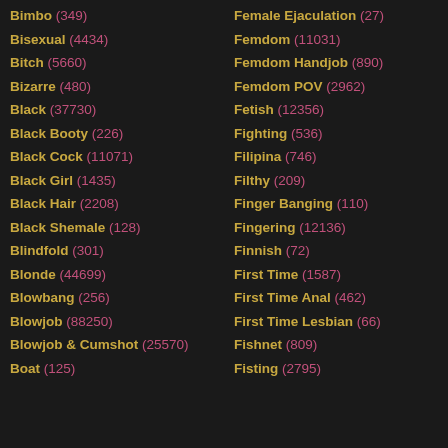Bimbo (349)
Bisexual (4434)
Bitch (5660)
Bizarre (480)
Black (37730)
Black Booty (226)
Black Cock (11071)
Black Girl (1435)
Black Hair (2208)
Black Shemale (128)
Blindfold (301)
Blonde (44699)
Blowbang (256)
Blowjob (88250)
Blowjob & Cumshot (25570)
Boat (125)
Female Ejaculation (27)
Femdom (11031)
Femdom Handjob (890)
Femdom POV (2962)
Fetish (12356)
Fighting (536)
Filipina (746)
Filthy (209)
Finger Banging (110)
Fingering (12136)
Finnish (72)
First Time (1587)
First Time Anal (462)
First Time Lesbian (66)
Fishnet (809)
Fisting (2795)